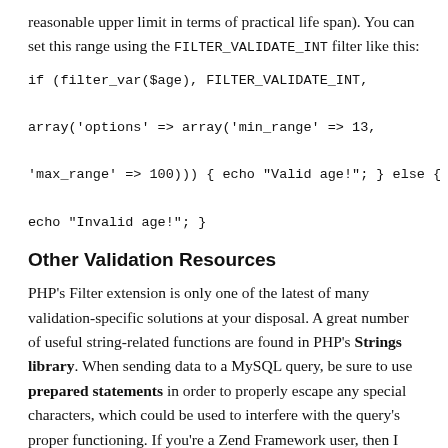reasonable upper limit in terms of practical life span). You can set this range using the FILTER_VALIDATE_INT filter like this:
Other Validation Resources
PHP's Filter extension is only one of the latest of many validation-specific solutions at your disposal. A great number of useful string-related functions are found in PHP's Strings library. When sending data to a MySQL query, be sure to use prepared statements in order to properly escape any special characters, which could be used to interfere with the query's proper functioning. If you're a Zend Framework user, then I highly